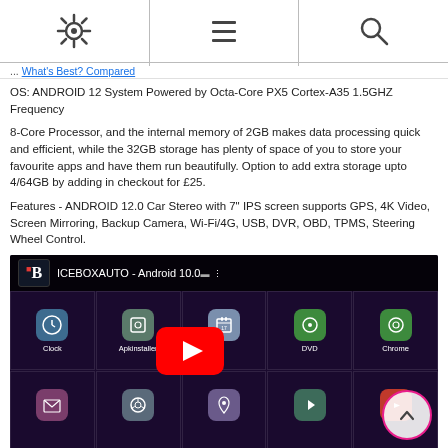[Settings icon] [Menu icon] [Search icon]
... What's Best? Compared
OS: ANDROID 12 System Powered by Octa-Core PX5 Cortex-A35 1.5GHZ Frequency
8-Core Processor, and the internal memory of 2GB makes data processing quick and efficient, while the 32GB storage has plenty of space of you to store your favourite apps and have them run beautifully. Option to add extra storage upto 4/64GB by adding in checkout for £25.
Features - ANDROID 12.0 Car Stereo with 7" IPS screen supports GPS, 4K Video, Screen Mirroring, Backup Camera, Wi-Fi/4G, USB, DVR, OBD, TPMS, Steering Wheel Control.
[Figure (screenshot): YouTube video thumbnail showing ICEBOXAUTO - Android 10.0 car stereo demo with app grid showing Clock, Apkinstaller, calendar, DVD, Chrome icons and a YouTube play button overlay. Scroll-up button visible bottom right.]